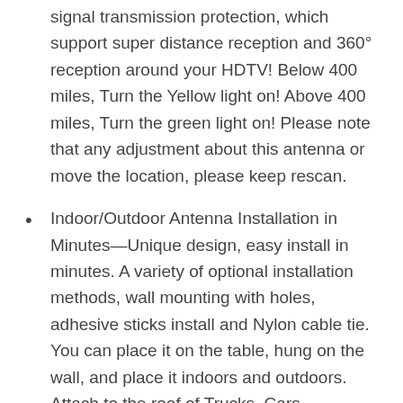signal transmission protection, which support super distance reception and 360° reception around your HDTV! Below 400 miles, Turn the Yellow light on! Above 400 miles, Turn the green light on! Please note that any adjustment about this antenna or move the location, please keep rescan.
Indoor/Outdoor Antenna Installation in Minutes—Unique design, easy install in minutes. A variety of optional installation methods, wall mounting with holes, adhesive sticks install and Nylon cable tie. You can place it on the table, hung on the wall, and place it indoors and outdoors. Attach to the roof of Trucks, Cars, Caravans, and Motor Homes with ease Please try it to the window or high location for better signal(strongly recommend…